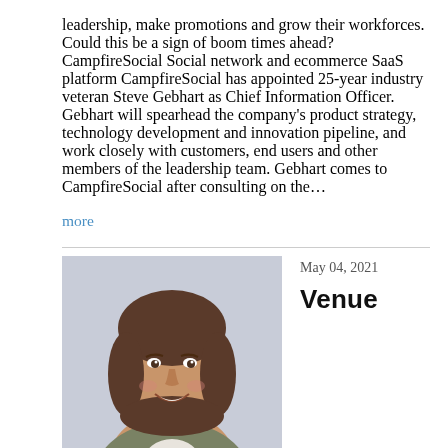leadership, make promotions and grow their workforces. Could this be a sign of boom times ahead? CampfireSocial Social network and ecommerce SaaS platform CampfireSocial has appointed 25-year industry veteran Steve Gebhart as Chief Information Officer. Gebhart will spearhead the company's product strategy, technology development and innovation pipeline, and work closely with customers, end users and other members of the leadership team. Gebhart comes to CampfireSocial after consulting on the… more
[Figure (photo): Headshot portrait of a woman with brown shoulder-length hair, smiling, wearing a grey/olive jacket, against a light grey/purple background.]
May 04, 2021
Venue